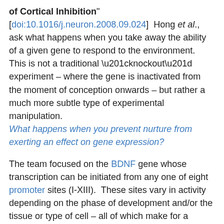of Cortical Inhibition" [doi:10.1016/j.neuron.2008.09.024]  Hong et al., ask what happens when you take away the ability of a given gene to respond to the environment.  This is not a traditional “knockout” experiment – where the gene is inactivated from the moment of conception onwards – but rather a much more subtle type of experimental manipulation. What happens when you prevent nurture from exerting an effect on gene expression?
The team focused on the BDNF gene whose transcription can be initiated from any one of eight promoter sites (I-XIII).  These sites vary in activity depending on the phase of development and/or the tissue or type of cell – all of which make for a complex set of instructions able to turn the BDNF gene on and off in precise developmental